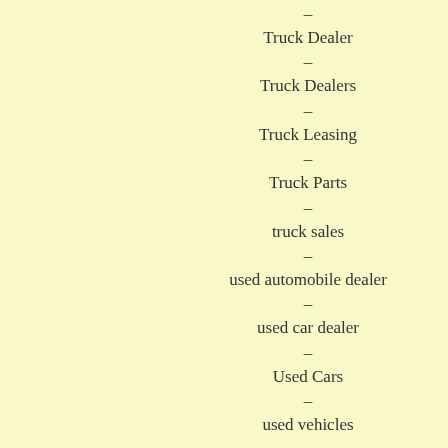–
Truck Dealer
–
Truck Dealers
–
Truck Leasing
–
Truck Parts
–
truck sales
–
used automobile dealer
–
used car dealer
–
Used Cars
–
used vehicles